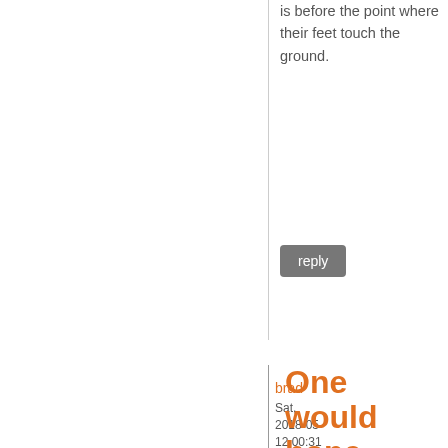is before the point where their feet touch the ground.
reply
brad
Sat, 2018-05-12 00:31
permalink
One would hope
But some people are trying to build systems with just neural nets on the camera. They don't really have these concepts. They do draw a bounding box with it.